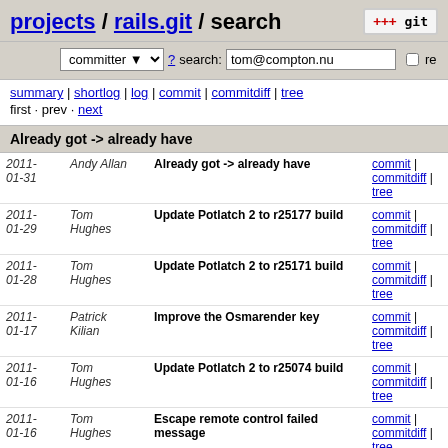projects / rails.git / search
committer ? search: tom@compton.nu re
summary | shortlog | log | commit | commitdiff | tree
first · prev · next
Already got -> already have
| date | author | message | links |
| --- | --- | --- | --- |
| 2011-01-31 | Andy Allan | Already got -> already have | commit | commitdiff | tree |
| 2011-01-29 | Tom Hughes | Update Potlatch 2 to r25177 build | commit | commitdiff | tree |
| 2011-01-28 | Tom Hughes | Update Potlatch 2 to r25171 build | commit | commitdiff | tree |
| 2011-01-17 | Patrick Kilian | Improve the Osmarender key | commit | commitdiff | tree |
| 2011-01-16 | Tom Hughes | Update Potlatch 2 to r25074 build | commit | commitdiff | tree |
| 2011-01-16 | Tom Hughes | Escape remote control failed message | commit | commitdiff | tree |
| 2011-01-14 | Tom Hughes | Use the normal rails asset tagging mechanisms for the... | commit | commitdiff | tree |
| 2011-01-14 | Tom Hughes | Update Potlatch 2 to r25050 build | commit | commitdiff | tree |
| 2011-01-... | Tom... | Add a client access policy for... | commit | commitdiff |